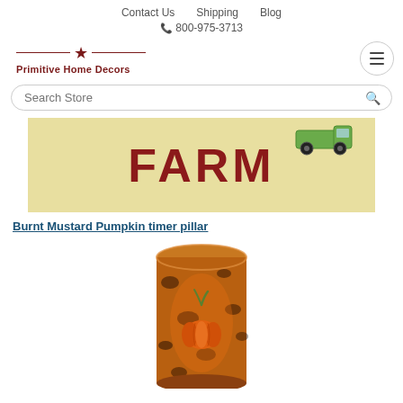Contact Us   Shipping   Blog
☎ 800-975-3713
[Figure (logo): Primitive Home Decors logo with star and horizontal lines]
[Figure (other): Search Store input bar with magnifying glass icon]
[Figure (photo): Farm sign product image showing partial truck and large red letters FARM on cream background]
Burnt Mustard Pumpkin timer pillar
[Figure (photo): Close-up photo of a burnt mustard pumpkin timer pillar candle with orange and dark mottled wax and pumpkin design]